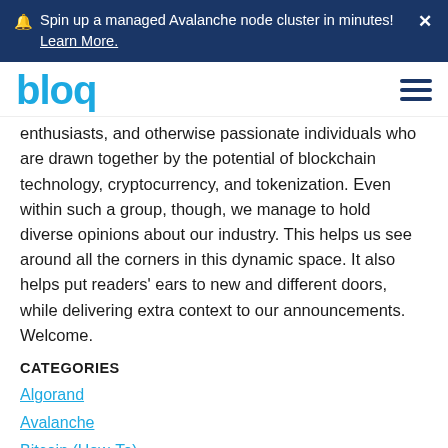🔔 Spin up a managed Avalanche node cluster in minutes! Learn More. ✕
[Figure (logo): bloq logo in blue text]
enthusiasts, and otherwise passionate individuals who are drawn together by the potential of blockchain technology, cryptocurrency, and tokenization. Even within such a group, though, we manage to hold diverse opinions about our industry. This helps us see around all the corners in this dynamic space. It also helps put readers' ears to new and different doors, while delivering extra context to our announcements. Welcome.
CATEGORIES
Algorand
Avalanche
Bitcoin (How-To)